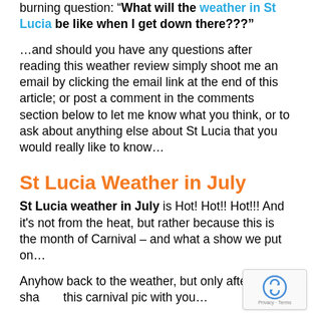burning question: "What will the weather in St Lucia be like when I get down there???"
…and should you have any questions after reading this weather review simply shoot me an email by clicking the email link at the end of this article; or post a comment in the comments section below to let me know what you think, or to ask about anything else about St Lucia that you would really like to know…
St Lucia Weather in July
St Lucia weather in July is Hot! Hot!! Hot!!! And it's not from the heat, but rather because this is the month of Carnival – and what a show we put on…
Anyhow back to the weather, but only after sharing this carnival pic with you…